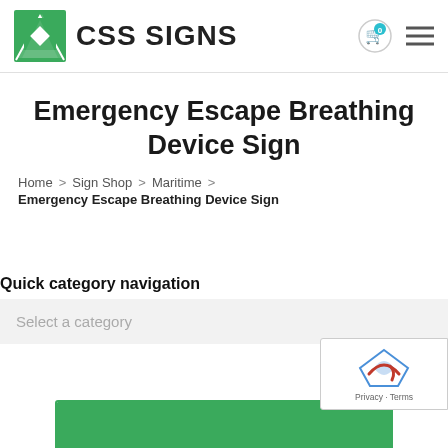CSS SIGNS
Emergency Escape Breathing Device Sign
Home > Sign Shop > Maritime > Emergency Escape Breathing Device Sign
Quick category navigation
Select a category